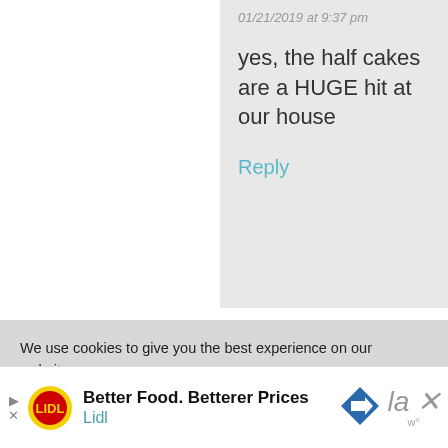01/21/2019 at 9:37 pm
yes, the half cakes are a HUGE hit at our house
Reply
Jan says
We use cookies to give you the best experience on our website.
Learn more about which cookies we use, or switch them off in settings.
Accept
[Figure (infographic): Lidl advertisement banner: Better Food. Betterer Prices — Lidl]